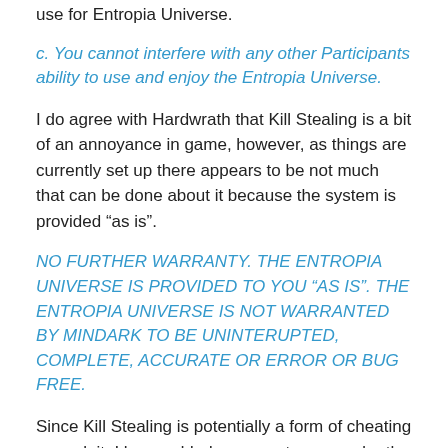use for Entropia Universe.
c. You cannot interfere with any other Participants ability to use and enjoy the Entropia Universe.
I do agree with Hardwrath that Kill Stealing is a bit of an annoyance in game, however, as things are currently set up there appears to be not much that can be done about it because the system is provided “as is”.
NO FURTHER WARRANTY. THE ENTROPIA UNIVERSE IS PROVIDED TO YOU “AS IS”. THE ENTROPIA UNIVERSE IS NOT WARRANTED BY MINDARK TO BE UNINTERUPTED, COMPLETE, ACCURATE OR ERROR OR BUG FREE.
Since Kill Stealing is potentially a form of cheating or exploit, I have added a new category under the Cheating and Exploit...